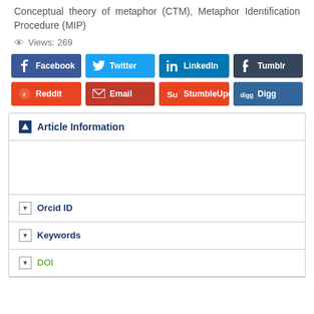Conceptual theory of metaphor (CTM), Metaphor Identification Procedure (MIP)
Views: 269
[Figure (screenshot): Social share buttons: Facebook, Twitter, LinkedIn, Tumblr (top row); Reddit, Email, StumbleUpon, Digg (bottom row)]
Article Information
Orcid ID
Keywords
DOI